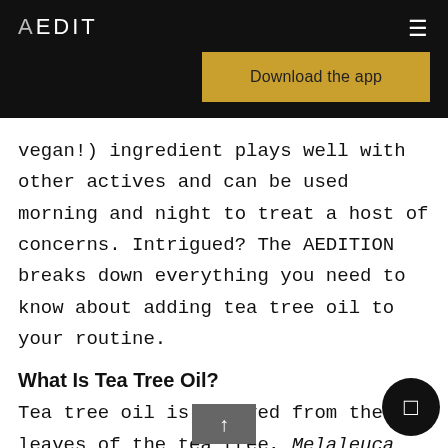AEDIT
[Figure (other): Download the app button (golden/yellow background)]
vegan!) ingredient plays well with other actives and can be used morning and night to treat a host of concerns. Intrigued? The AEDITION breaks down everything you need to know about adding tea tree oil to your routine.
What Is Tea Tree Oil?
Tea tree oil is derived from the leaves of the tea tree, Melaleuca alternifolia, that is found in Australia and New Zealand — but don't get this